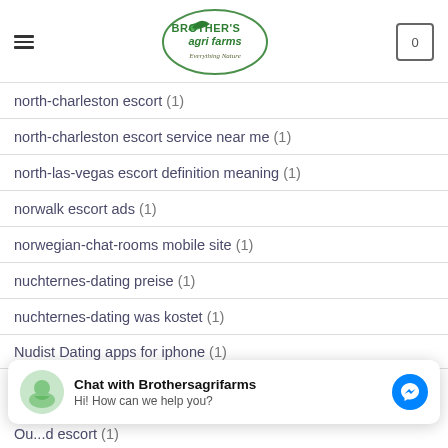Brother's Agri Farms — Everything Nature
north-charleston escort (1)
north-charleston escort service near me (1)
north-las-vegas escort definition meaning (1)
norwalk escort ads (1)
norwegian-chat-rooms mobile site (1)
nuchternes-dating preise (1)
nuchternes-dating was kostet (1)
Nudist Dating apps for iphone (1)
Chat with Brothersagrifarms — Hi! How can we help you?
Ou...d escort (1)